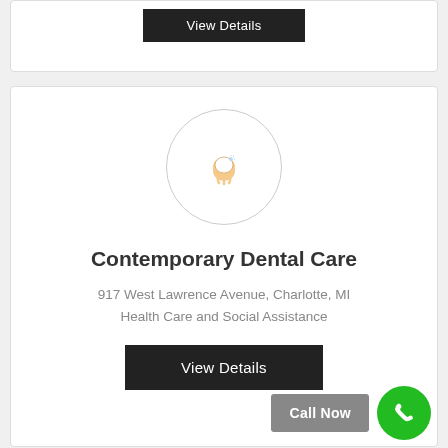[Figure (screenshot): Top card showing a dark 'View Details' button at the top, partial card from previous listing]
[Figure (illustration): Circular icon with a tooth/dental icon in orange on white background]
Contemporary Dental Care
917 West Lawrence Avenue, Charlotte, MI
Health Care and Social Assistance
View Details
Call Now